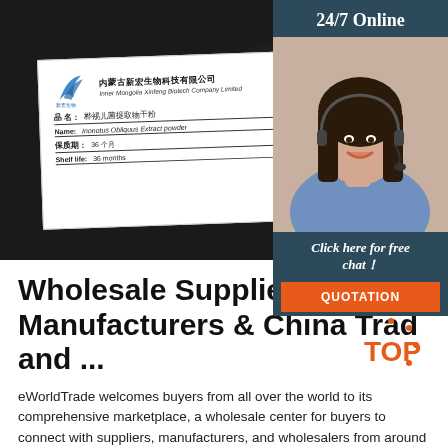[Figure (photo): Product photo showing dark powder in a bowl/dish with a product label card overlay showing Inner Mongolia Xinfeng Biotech Company Limited branding, product name Inonotus Obliquus Extract powder, shelf life 36 months]
[Figure (photo): 24/7 Online customer service sidebar showing a woman with a headset smiling, with a 'Click here for free chat!' message and QUOTATION button]
Wholesale Suppliers, Manufacturers & China Trad and ...
eWorldTrade welcomes buyers from all over the world to its comprehensive marketplace, a wholesale center for buyers to connect with suppliers, manufacturers, and wholesalers from around the globe. eWorldTrade is one of the biggest wholesale websites that features 39 industries with thousands